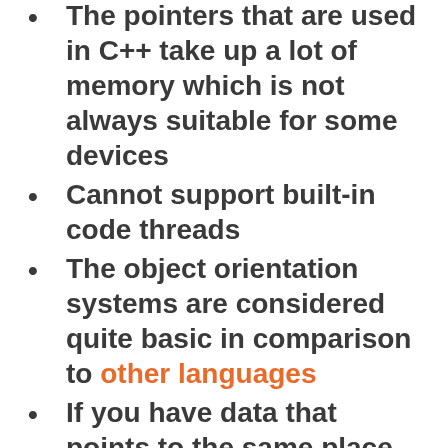The pointers that are used in C++ take up a lot of memory which is not always suitable for some devices
Cannot support built-in code threads
The object orientation systems are considered quite basic in comparison to other languages
If you have data that points to the same place from different starting points, the code tends to get mixed up and malfunction
Having to manually control memory allocation can be a pain if you're used to automatic memory management